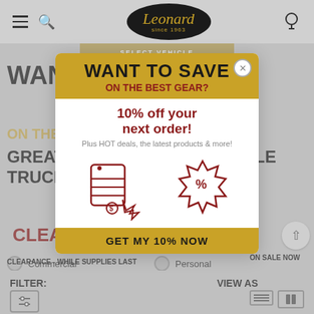[Figure (screenshot): Leonard since 1963 website header with hamburger menu, search, logo, and user icon]
GREAT DEALS ON AFFORDABLE TRUCK ACCESSORIES
CLEARANCE    ON SALE
Commercial  Personal  Both
CLEARANCE - WHILE SUPPLIES LAST
ON SALE NOW
FILTER:
VIEW AS
[Figure (screenshot): Modal popup: WANT TO SAVE ON THE BEST GEAR? 10% off next order! GET MY 10% NOW. Icons of price tag and discount badge.]